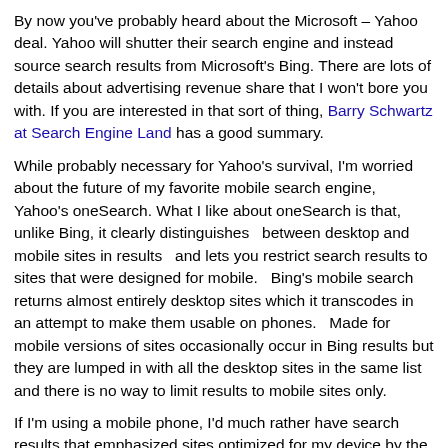By now you've probably heard about the Microsoft – Yahoo deal. Yahoo will shutter their search engine and instead source search results from Microsoft's Bing. There are lots of details about advertising revenue share that I won't bore you with. If you are interested in that sort of thing, Barry Schwartz at Search Engine Land has a good summary.
While probably necessary for Yahoo's survival, I'm worried about the future of my favorite mobile search engine, Yahoo's oneSearch. What I like about oneSearch is that, unlike Bing, it clearly distinguishes  between desktop and mobile sites in results  and lets you restrict search results to sites that were designed for mobile.  Bing's mobile search returns almost entirely desktop sites which it transcodes in an attempt to make them usable on phones.  Made for mobile versions of sites occasionally occur in Bing results but they are lumped in with all the desktop sites in the same list and there is no way to limit results to mobile sites only.
If I'm using a mobile phone, I'd much rather have search results that emphasized sites optimized for my device by the original designer.  Even on an iPhone, a page that was created with the strengths and limitations of the device in mind should give a better a user experience than one built